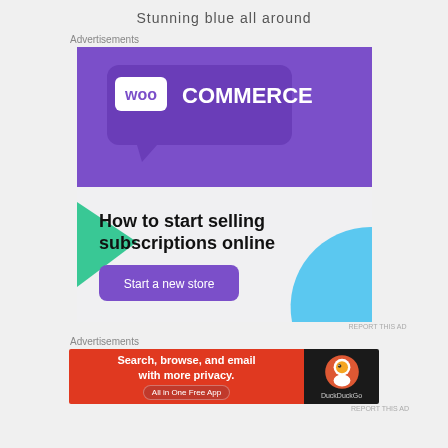Stunning blue all around
Advertisements
[Figure (screenshot): WooCommerce advertisement banner: purple header with WooCommerce logo, green triangle decoration, blue quarter-circle decoration, text 'How to start selling subscriptions online', purple 'Start a new store' button on light grey background]
REPORT THIS AD
Advertisements
[Figure (screenshot): DuckDuckGo advertisement: orange-red background with text 'Search, browse, and email with more privacy. All in One Free App' and DuckDuckGo logo on dark background]